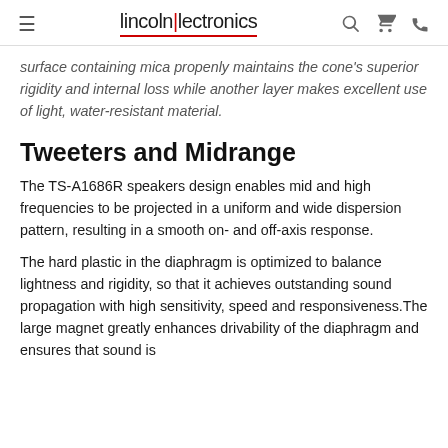lincolnlectronics
surface containing mica propenly maintains the cone's superior rigidity and internal loss while another layer makes excellent use of light, water-resistant material.
Tweeters and Midrange
The TS-A1686R speakers design enables mid and high frequencies to be projected in a uniform and wide dispersion pattern, resulting in a smooth on- and off-axis response.
The hard plastic in the diaphragm is optimized to balance lightness and rigidity, so that it achieves outstanding sound propagation with high sensitivity, speed and responsiveness.The large magnet greatly enhances drivability of the diaphragm and ensures that sound is